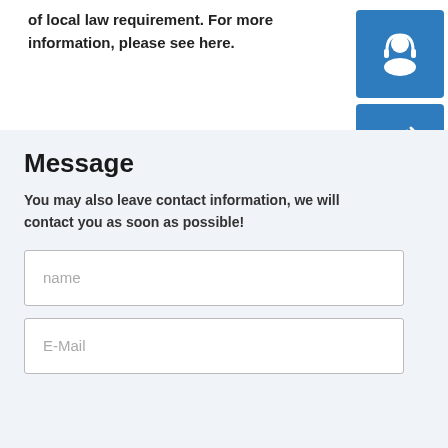of local law requirement. For more information, please see here.
[Figure (illustration): Blue square icon with white customer support / headset agent silhouette]
[Figure (illustration): Blue square icon with white phone with signal waves]
[Figure (illustration): Blue square icon with white Skype logo]
Message
You may also leave contact information, we will contact you as soon as possible!
name
E-Mail